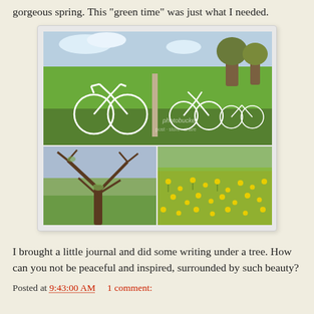gorgeous spring. This "green time" was just what I needed.
[Figure (photo): Collage of three spring nature photos: top image shows white bicycle sculptures/art installation along a fence in a green field with trees; bottom-left shows a large bare/budding tree in green grass; bottom-right shows a field of yellow wildflowers.]
I brought a little journal and did some writing under a tree. How can you not be peaceful and inspired, surrounded by such beauty?
Posted at 9:43:00 AM    1 comment: